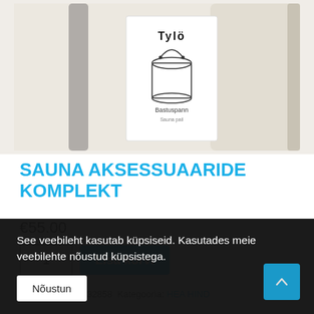[Figure (photo): Product photo showing sauna accessories set: a wooden handle, a white product box with Tylö brand logo and sauna pail illustration, and a light beige wooden bucket/pail]
SAUNA AKSESSUAARIDE KOMPLEKT
€55.00
1  Lisa korvi
Tootekood: 001532858 Kategooria: HEA HIND
See veebileht kasutab küpsiseid. Kasutades meie veebilehte nõustud küpsistega.
Nõustun